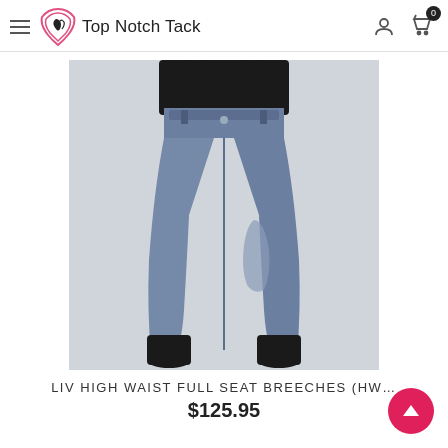Top Notch Tack
[Figure (photo): Woman wearing steel blue/slate high waist full seat breeches with knee patch grip, shown from the back/side, tucked into black ankle boots against a light grey background.]
LIV HIGH WAIST FULL SEAT BREECHES (HW...
$125.95